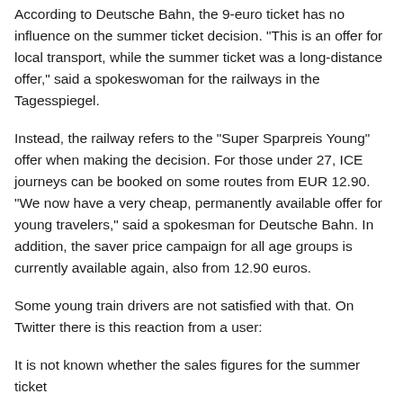According to Deutsche Bahn, the 9-euro ticket has no influence on the summer ticket decision. “This is an offer for local transport, while the summer ticket was a long-distance offer,” said a spokeswoman for the railways in the Tagesspiegel.
Instead, the railway refers to the “Super Sparpreis Young” offer when making the decision. For those under 27, ICE journeys can be booked on some routes from EUR 12.90. “We now have a very cheap, permanently available offer for young travelers,” said a spokesman for Deutsche Bahn. In addition, the saver price campaign for all age groups is currently available again, also from 12.90 euros.
Some young train drivers are not satisfied with that. On Twitter there is this reaction from a user:
It is not known whether the sales figures for the summer ticket